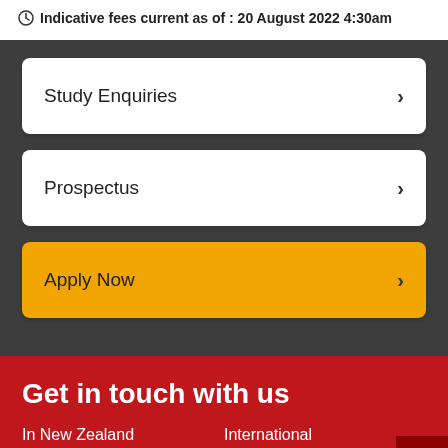Indicative fees current as of : 20 August 2022 4:30am
Study Enquiries
Prospectus
Apply Now
Get in touch with us
In New Zealand
0800 WAIKATO
International
+64 7 838 4610